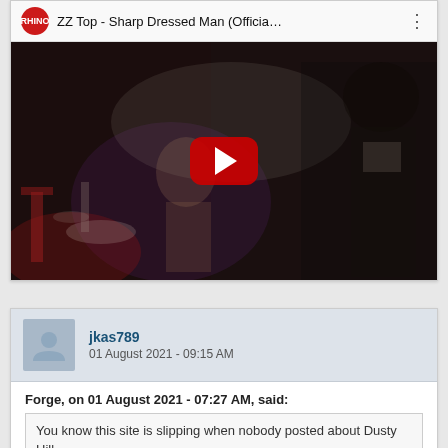[Figure (screenshot): YouTube video thumbnail for 'ZZ Top - Sharp Dressed Man (Officia...' with Rhino channel logo, dark moody video frame, and red play button overlay]
jkas789
01 August 2021 - 09:15 AM
Forge, on 01 August 2021 - 07:27 AM, said:
You know this site is slipping when nobody posted about Dusty Hill,